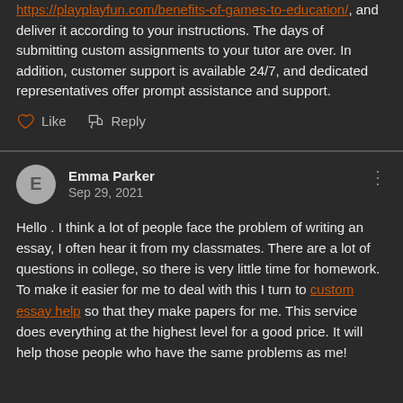https://playplayfun.com/benefits-of-games-to-education/, and deliver it according to your instructions. The days of submitting custom assignments to your tutor are over. In addition, customer support is available 24/7, and dedicated representatives offer prompt assistance and support.
Like   Reply
Emma Parker
Sep 29, 2021
Hello . I think a lot of people face the problem of writing an essay, I often hear it from my classmates. There are a lot of questions in college, so there is very little time for homework. To make it easier for me to deal with this I turn to custom essay help so that they make papers for me. This service does everything at the highest level for a good price. It will help those people who have the same problems as me!